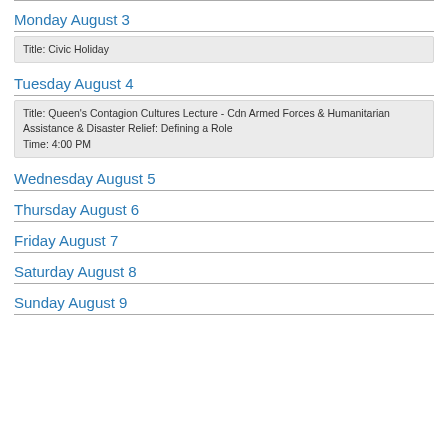Monday August 3
Title:  Civic Holiday
Tuesday August 4
Title:  Queen's Contagion Cultures Lecture - Cdn Armed Forces & Humanitarian Assistance & Disaster Relief: Defining a Role
Time:  4:00 PM
Wednesday August 5
Thursday August 6
Friday August 7
Saturday August 8
Sunday August 9